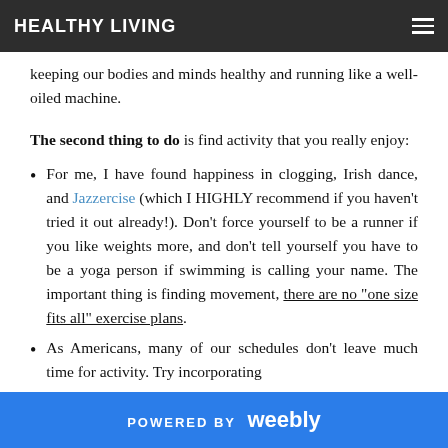HEALTHY LIVING
keeping our bodies and minds healthy and running like a well-oiled machine.
The second thing to do is find activity that you really enjoy:
For me, I have found happiness in clogging, Irish dance, and Jazzercise (which I HIGHLY recommend if you haven't tried it out already!). Don't force yourself to be a runner if you like weights more, and don't tell yourself you have to be a yoga person if swimming is calling your name. The important thing is finding movement, there are no “one size fits all” exercise plans.
As Americans, many of our schedules don't leave much time for activity. Try incorporating
POWERED BY weebly